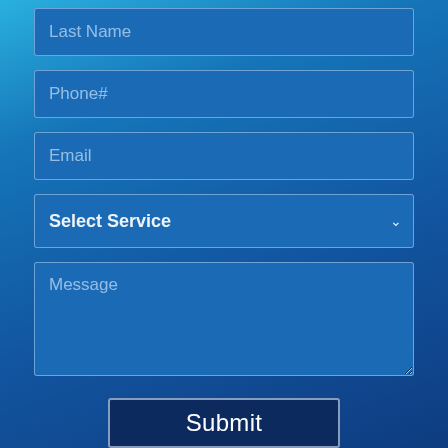[Figure (screenshot): A web contact form on a blue gradient background showing form fields: Last Name (partially visible at top), Phone#, Email, Select Service dropdown, Message textarea, and a Submit button. The form has a dark blue gradient background with lighter blue input fields and white/light blue placeholder text.]